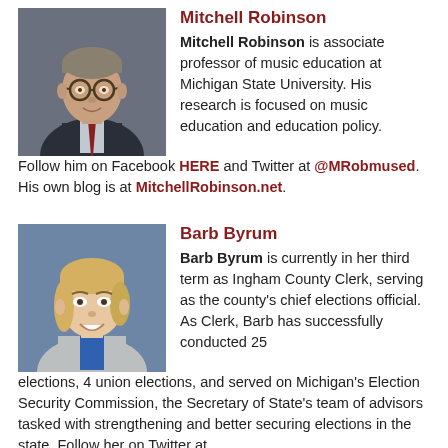[Figure (photo): Headshot of Mitchell Robinson, a man with glasses wearing a suit and tie]
Mitchell Robinson
Mitchell Robinson is associate professor of music education at Michigan State University. His research is focused on music education and education policy. Follow him on Facebook HERE and Twitter at @MRobmused. His own blog is at MitchellRobinson.net.
[Figure (photo): Headshot of Barb Byrum, a blonde woman in a light blazer, smiling]
Barb Byrum
Barb Byrum is currently in her third term as Ingham County Clerk, serving as the county's chief elections official. As Clerk, Barb has successfully conducted 25 elections, 4 union elections, and served on Michigan's Election Security Commission, the Secretary of State's team of advisors tasked with strengthening and better securing elections in the state. Follow her on Twitter at